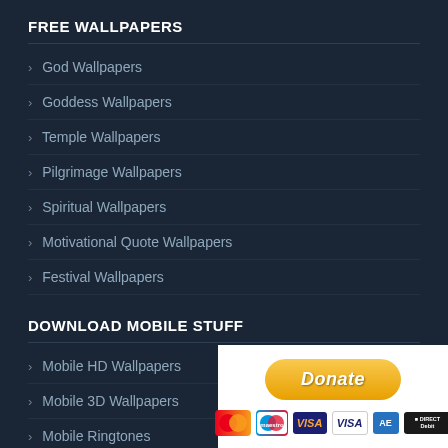FREE WALLPAPERS
> God Wallpapers
> Goddess Wallpapers
> Temple Wallpapers
> Pilgrimage Wallpapers
> Spiritual Wallpapers
> Motivational Quote Wallpapers
> Festival Wallpapers
DOWNLOAD MOBILE STUFF
> Mobile HD Wallpapers
> Mobile 3D Wallpapers
> Mobile Ringtones
> Mobile Quotes
[Figure (other): PayPal Donate button with payment card icons (MasterCard, Maestro, VISA, VISA Debit, American Express, Direct Debit)]